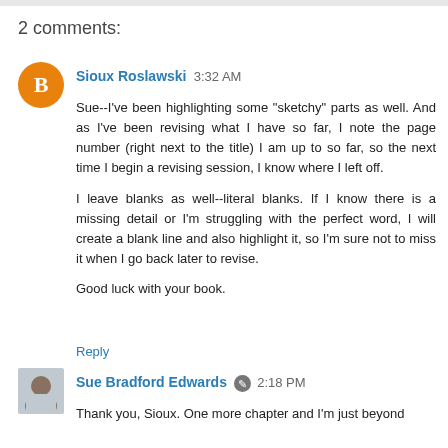2 comments:
Sioux Roslawski  3:32 AM
Sue--I've been highlighting some "sketchy" parts as well. And as I've been revising what I have so far, I note the page number (right next to the title) I am up to so far, so the next time I begin a revising session, I know where I left off.

I leave blanks as well--literal blanks. If I know there is a missing detail or I'm struggling with the perfect word, I will create a blank line and also highlight it, so I'm sure not to miss it when I go back later to revise.

Good luck with your book.
Reply
Sue Bradford Edwards  2:18 PM
Thank you, Sioux. One more chapter and I'm just beyond the half-way point.